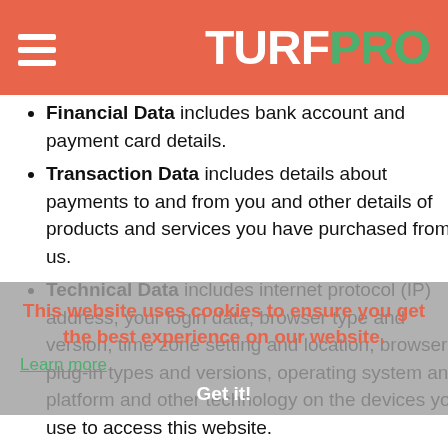TURFPRO
Financial Data includes bank account and payment card details.
Transaction Data includes details about payments to and from you and other details of products and services you have purchased from us.
Technical Data includes internet protocol (IP) address, your login data, browser type and version, time zone setting and location, browser plug-in types and versions, operating system and platform and other technology on the devices you use to access this website.
Profile Data includes your username and password, purchases or orders made by you, your interests, preferences, feedback and survey responses.
Usage Data includes information about how you use our website, products and services.
Marketing and Communications Data includes your